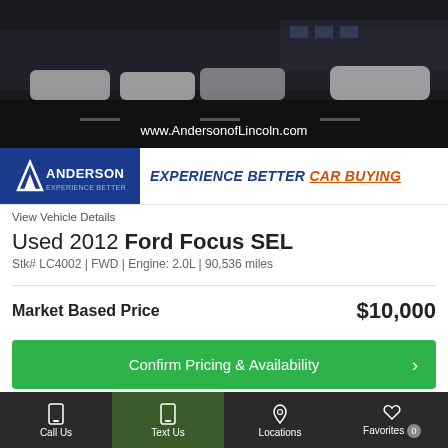[Figure (photo): Dealer lot photo showing cars parked in a lot at night/dusk with www.AndersonofLincoln.com URL overlay]
[Figure (logo): Anderson Experience Better dealership logo banner with tagline EXPERIENCE BETTER CAR BUYING]
View Vehicle Details
Used 2012 Ford Focus SEL
Stk# LC4002 | FWD | Engine: 2.0L | 90,536 miles
Market Based Price   $10,000
Confirm Pricing & Availability
View This Focus's Details
Call Us   Text Us   Locations   Favorites 0